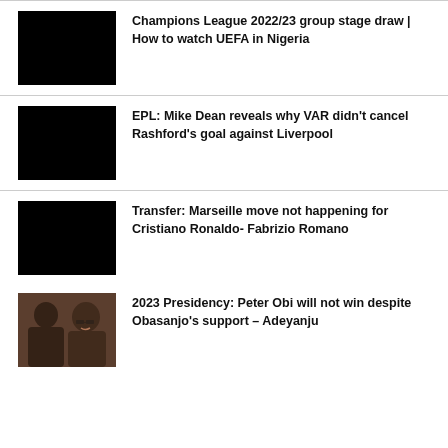Champions League 2022/23 group stage draw | How to watch UEFA in Nigeria
EPL: Mike Dean reveals why VAR didn't cancel Rashford's goal against Liverpool
Transfer: Marseille move not happening for Cristiano Ronaldo- Fabrizio Romano
2023 Presidency: Peter Obi will not win despite Obasanjo's support – Adeyanju